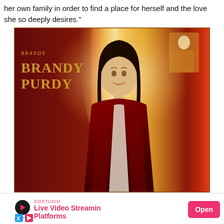her own family in order to find a place for herself and the love she so deeply desires."
[Figure (photo): Book cover for a novel by Brandy Purdy, showing a woman in a dark red medieval dress against a warm golden arch background. The author name 'BRANDY PURDY' is displayed in gold text on the left side of the cover.]
[Figure (infographic): Advertisement banner for GoStudio Live Video Streaming Platforms with a pink 'Open' button. Features the GoStudio logo icon, brand name in pink, headline text in pink, and small X and play button icons at the bottom.]